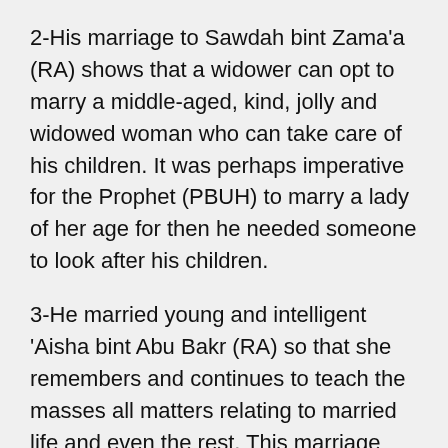2-His marriage to Sawdah bint Zama'a (RA) shows that a widower can opt to marry a middle-aged, kind, jolly and widowed woman who can take care of his children. It was perhaps imperative for the Prophet (PBUH) to marry a lady of her age for then he needed someone to look after his children.
3-He married young and intelligent 'Aisha bint Abu Bakr (RA) so that she remembers and continues to teach the masses all matters relating to married life and even the rest. This marriage also aimed at fostering his friendly relations with Abu Bakr (RA) and also to refute the baseless Arab tradition of not marrying the daughter of the called-not real brother. It was also a question of manifestation...